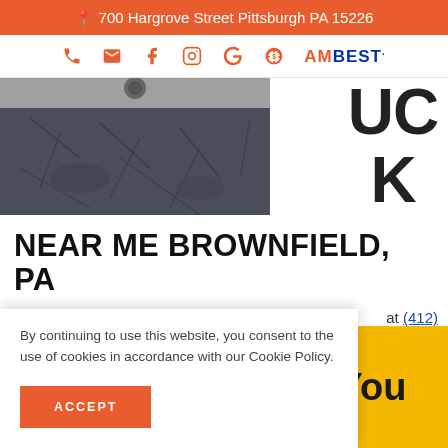700 Hargrove Street Pittsburgh PA 15226
[Figure (screenshot): Navigation icon bar with phone, email, Facebook, Instagram, Google, dollar sign icons, and AM Best logo]
[Figure (photo): Photo of a cracked asphalt or road surface, partially visible, with large letters UC K visible on the right side]
NEAR ME BROWNFIELD, PA
Need a tow truck in Brownfield, PA? For a quick
at (412)
towing
1989.
get help
You
Each
By continuing to use this website, you consent to the use of cookies in accordance with our Cookie Policy.
ACCEPT